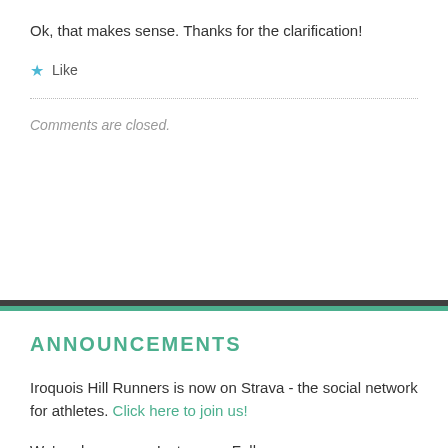Ok, that makes sense. Thanks for the clarification!
Like
Comments are closed.
ANNOUNCEMENTS
Iroquois Hill Runners is now on Strava - the social network for athletes. Click here to join us!
We're also now on Instagram. Follow us @iroquoishillrunners!